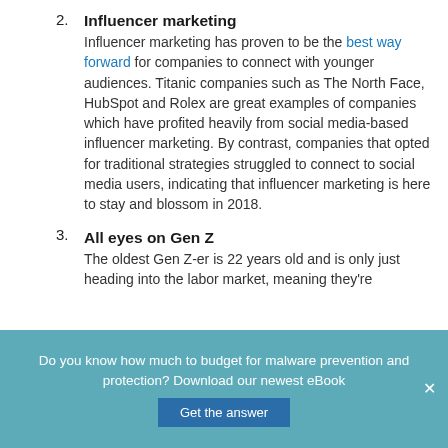2. Influencer marketing
Influencer marketing has proven to be the best way forward for companies to connect with younger audiences. Titanic companies such as The North Face, HubSpot and Rolex are great examples of companies which have profited heavily from social media-based influencer marketing. By contrast, companies that opted for traditional strategies struggled to connect to social media users, indicating that influencer marketing is here to stay and blossom in 2018.
3. All eyes on Gen Z
The oldest Gen Z-er is 22 years old and is only just heading into the labor market, meaning they're
Do you know how much to budget for malware prevention and protection? Download our newest eBook  Get the answer